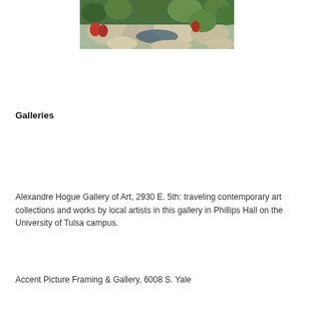[Figure (photo): A photo of a rock garden with colorful plants including red flowers, green succulents, and large stones, appearing to be an outdoor landscape.]
Galleries
Alexandre Hogue Gallery of Art, 2930 E. 5th: traveling contemporary art collections and works by local artists in this gallery in Phillips Hall on the University of Tulsa campus.
Accent Picture Framing & Gallery, 6008 S. Yale